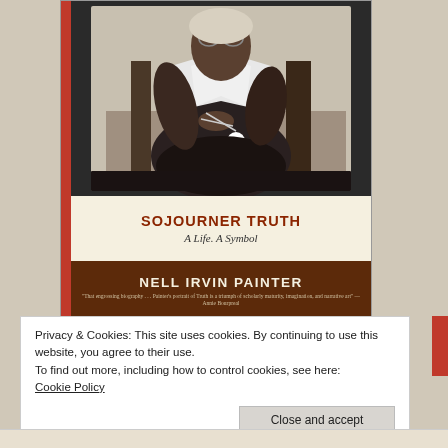[Figure (illustration): Book cover of 'Sojourner Truth: A Life, A Symbol' by Nell Irvin Painter. Top portion shows a black-and-white historical photograph of Sojourner Truth seated, wearing glasses, a white shawl, and dark dress, knitting. Below the photo is a cream-colored title band with the title in dark red serif caps and subtitle in italic script. Below that is a dark brown band with the author name in cream serif caps and a small blurb in tiny text.]
Privacy & Cookies: This site uses cookies. By continuing to use this website, you agree to their use.
To find out more, including how to control cookies, see here:
Cookie Policy
Close and accept